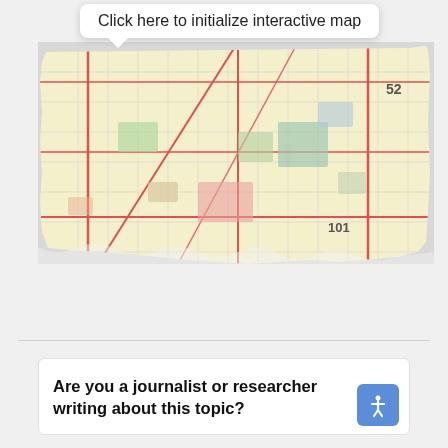[Figure (map): Interactive map showing a city street grid with yellow land parcels, red arterial roads, and numbered routes (52, 101). The map has an irregular torn-paper style boundary and shows a dense urban street layout.]
Click here to initialize interactive map
Are you a journalist or researcher writing about this topic?